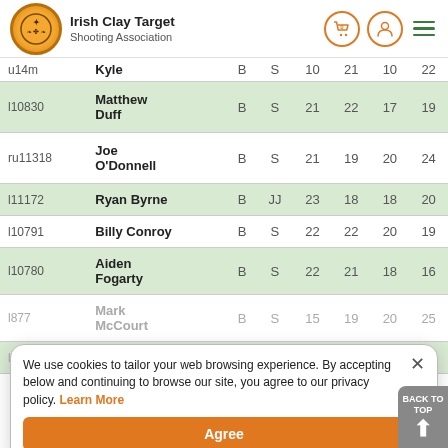Irish Clay Target Shooting Association
| ID | Name | Col3 | Col4 | Col5 | Col6 | Col7 | Col8 |
| --- | --- | --- | --- | --- | --- | --- | --- |
| u14m | Kyle | B | S | 10 | 21 | 10 | 22 |
| l10830 | Matthew Duff | B | S | 21 | 22 | 17 | 19 |
| ru11318 | Joe O'Donnell | B | S | 21 | 19 | 20 | 24 |
| l11172 | Ryan Byrne | B | JJ | 23 | 18 | 18 | 20 |
| l10791 | Billy Conroy | B | S | 22 | 22 | 20 | 19 |
| l10780 | Aiden Fogarty | B | S | 22 | 21 | 18 | 16 |
| l877 | Mark McCourt | B | S | 15 | 19 | 20 | 25 |
| l11098 | Jo... | B | S | 20 | 15 | 21 |  |
| ru992e | Declan | B | S | 24 | 19 | 17 | 21 |
We use cookies to tailor your web browsing experience. By accepting below and continuing to browse our site, you agree to our privacy policy. Learn More
Agree